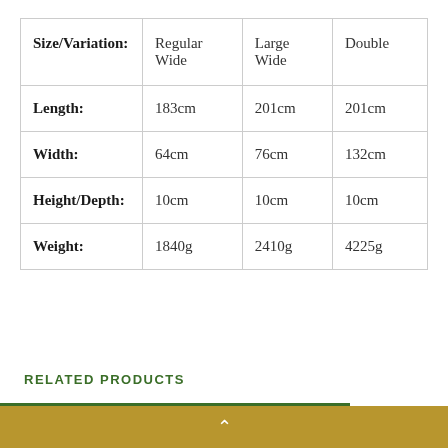| Size/Variation: | Regular Wide | Large Wide | Double |
| --- | --- | --- | --- |
| Length: | 183cm | 201cm | 201cm |
| Width: | 64cm | 76cm | 132cm |
| Height/Depth: | 10cm | 10cm | 10cm |
| Weight: | 1840g | 2410g | 4225g |
RELATED PRODUCTS